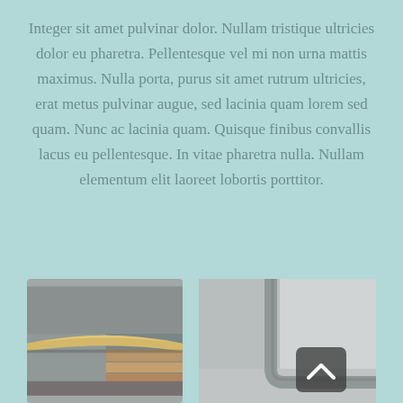Integer sit amet pulvinar dolor. Nullam tristique ultricies dolor eu pharetra. Pellentesque vel mi non urna mattis maximus. Nulla porta, purus sit amet rutrum ultricies, erat metus pulvinar augue, sed lacinia quam lorem sed quam. Nunc ac lacinia quam. Quisque finibus convallis lacus eu pellentesque. In vitae pharetra nulla. Nullam elementum elit laoreet lobortis porttitor.
[Figure (photo): Close-up photo of a gold/brass floor transition strip lying on grey tile and wooden flooring]
[Figure (photo): Close-up photo of a grey corner/bath seal profile in a tiled corner, with a dark scroll-up button overlay]